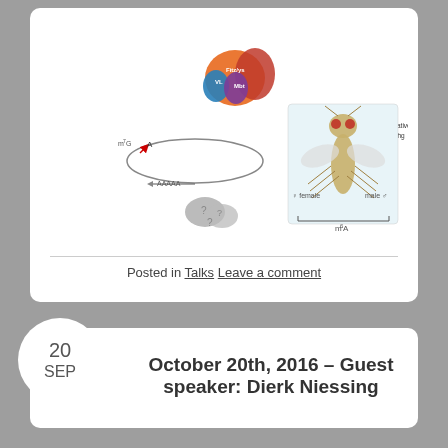[Figure (schematic): Scientific diagram showing mRNA biology with labeled components: m7G cap, poly-A tail (AAAAA), reader proteins (Fitz/ys, VL, Mbt shown as colored overlapping circles in orange, blue, purple), m6A modification, YTHDF reader (green oval), Alternative splicing arrow, and a Drosophila fly illustration with male/female comparison and m6A label beneath.]
Posted in Talks Leave a comment
20
SEP
October 20th, 2016 – Guest speaker: Dierk Niessing